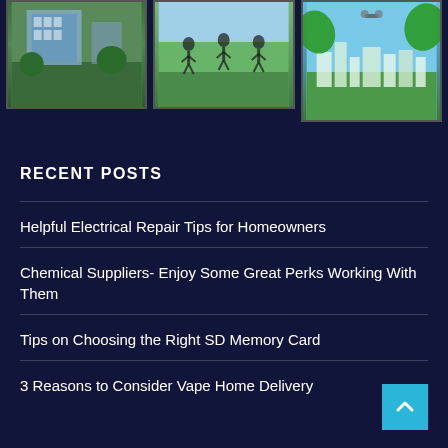[Figure (photo): Three thumbnail photos in a horizontal strip: a school/building with green lawn, people jumping on grass, and an eco/green city illustration with leaves and drone]
RECENT POSTS
Helpful Electrical Repair Tips for Homeowners
Chemical Suppliers- Enjoy Some Great Perks Working With Them
Tips on Choosing the Right SD Memory Card
3 Reasons to Consider Vape Home Delivery